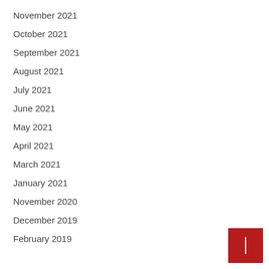November 2021
October 2021
September 2021
August 2021
July 2021
June 2021
May 2021
April 2021
March 2021
January 2021
November 2020
December 2019
February 2019